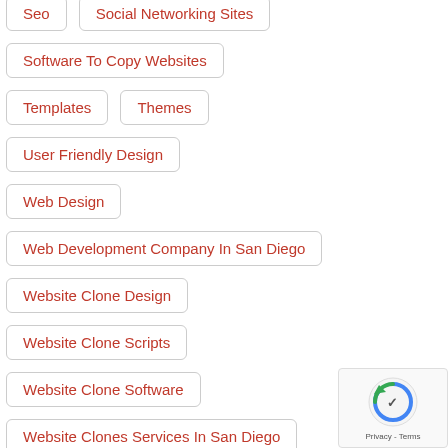Seo
Social Networking Sites
Software To Copy Websites
Templates
Themes
User Friendly Design
Web Design
Web Development Company In San Diego
Website Clone Design
Website Clone Scripts
Website Clone Software
Website Clones Services In San Diego
Website Cloning
Website Cloning Company
Website Cloning Services
[Figure (logo): reCAPTCHA logo with Privacy - Terms text]